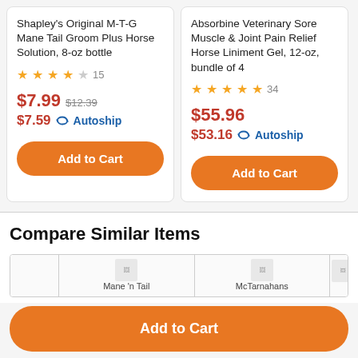Shapley's Original M-T-G Mane Tail Groom Plus Horse Solution, 8-oz bottle
★★★★☆ 15 | $7.99 $12.39 | $7.59 Autoship
Absorbine Veterinary Sore Muscle & Joint Pain Relief Horse Liniment Gel, 12-oz, bundle of 4
★★★★★ 34 | $55.96 | $53.16 Autoship
Compare Similar Items
[Figure (screenshot): Comparison table row with product thumbnails: Mane 'n Tail, McTarnahans, and partially visible third item]
Add to Cart